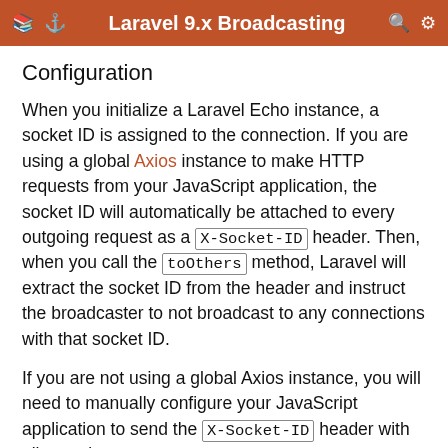Laravel 9.x Broadcasting
Configuration
When you initialize a Laravel Echo instance, a socket ID is assigned to the connection. If you are using a global Axios instance to make HTTP requests from your JavaScript application, the socket ID will automatically be attached to every outgoing request as a X-Socket-ID header. Then, when you call the toOthers method, Laravel will extract the socket ID from the header and instruct the broadcaster to not broadcast to any connections with that socket ID.
If you are not using a global Axios instance, you will need to manually configure your JavaScript application to send the X-Socket-ID header with all outgoing